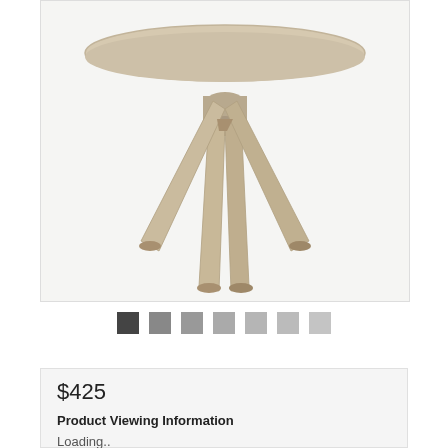[Figure (photo): Round wooden coffee table with X-shaped cross base legs, light natural wood finish, photographed from slightly above on a white/light gray background. Only the base and underside are visible.]
[Figure (other): Row of 7 thumbnail navigation squares in varying shades of gray, used as image carousel indicators.]
$425
Product Viewing Information
Loading..